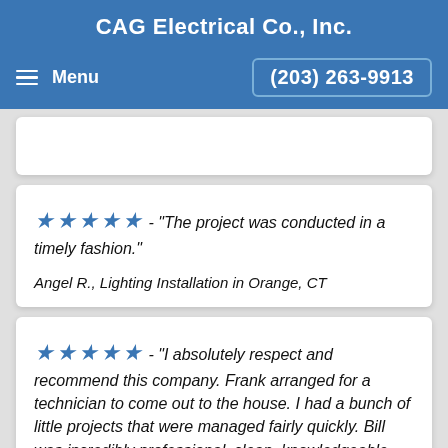CAG Electrical Co., Inc.
Menu   (203) 263-9913
★★★★★ - "The project was conducted in a timely fashion."
Angel R., Lighting Installation in Orange, CT
★★★★★ - "I absolutely respect and recommend this company. Frank arranged for a technician to come out to the house. I had a bunch of little projects that were managed fairly quickly. Bill was incredibly professional, clean, knowledgeable and helped make